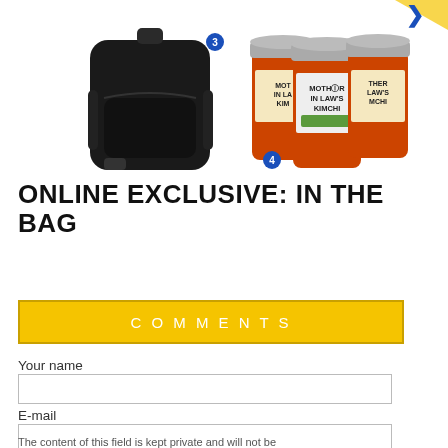[Figure (photo): Two product images side by side: a black backpack on the left with a blue numbered circle '3', and three jars of Mother In Law's Kimchi on the right with a blue numbered circle '4'. Partial yellow arrow/icon visible at top right.]
ONLINE EXCLUSIVE: IN THE BAG
COMMENTS
Your name
E-mail
The content of this field is kept private and will not be